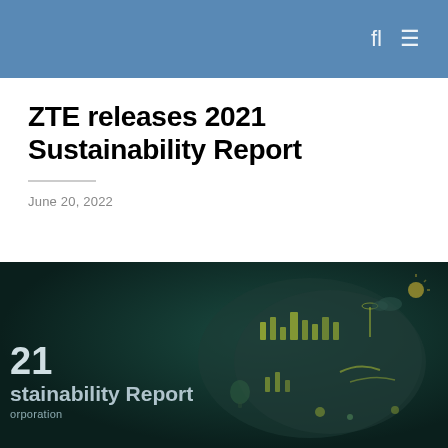ZTE releases 2021 Sustainability Report
June 20, 2022
[Figure (illustration): Dark green sustainability report cover image showing a stylized city/nature brain shape with eco icons, partial text reading '21 Sustainability Report Corporation']